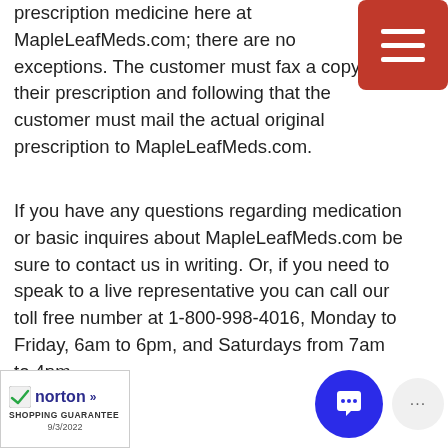prescription medicine here at MapleLeafMeds.com; there are no exceptions. The customer must fax a copy of their prescription and following that the customer must mail the actual original prescription to MapleLeafMeds.com.
If you have any questions regarding medication or basic inquires about MapleLeafMeds.com be sure to contact us in writing. Or, if you need to speak to a live representative you can call our toll free number at 1-800-998-4016, Monday to Friday, 6am to 6pm, and Saturdays from 7am to 4pm.
[Figure (logo): Norton Shopping Guarantee badge with checkmark, dated 9/3/2022]